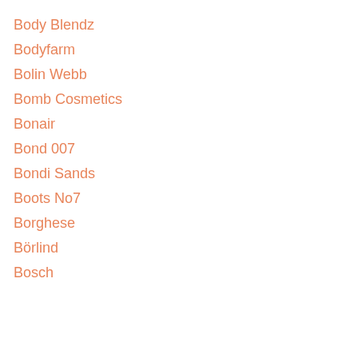Body Blendz
Bodyfarm
Bolin Webb
Bomb Cosmetics
Bonair
Bond 007
Bondi Sands
Boots No7
Borghese
Börlind
Bosch